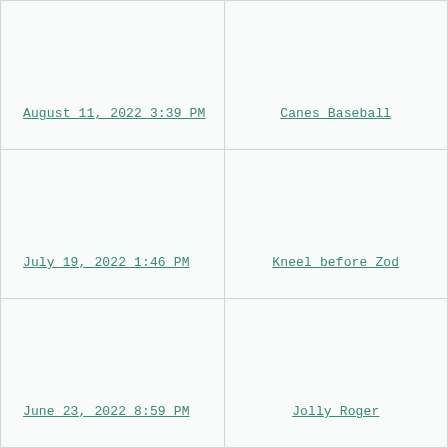August 11, 2022 3:39 PM
Canes Baseball
July 19, 2022 1:46 PM
Kneel before Zod
June 23, 2022 8:59 PM
Jolly Roger